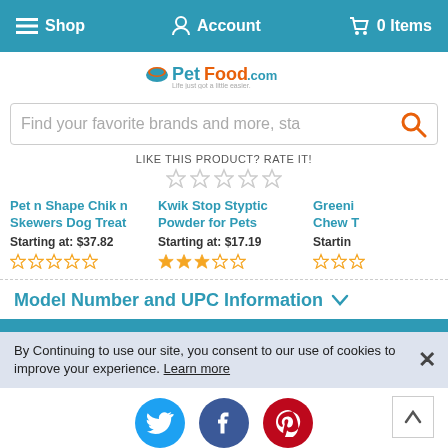☰ Shop   Account   🛒 0 Items
[Figure (logo): PetFood.com logo with tagline 'Life just got a little easier']
Find your favorite brands and more, sta
LIKE THIS PRODUCT? RATE IT!
Pet n Shape Chik n Skewers Dog Treat
Starting at: $37.82
Kwik Stop Styptic Powder for Pets
Starting at: $17.19
Greenies Chew T...
Startin...
Model Number and UPC Information ▾
By Continuing to use our site, you consent to our use of cookies to improve your experience. Learn more
[Figure (infographic): Social media icons: Twitter, Facebook, Pinterest]
Sign up for all the latest deals, news, and more!